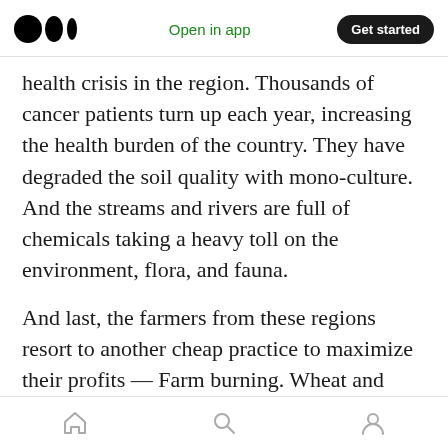Medium logo | Open in app | Get started
health crisis in the region. Thousands of cancer patients turn up each year, increasing the health burden of the country. They have degraded the soil quality with mono-culture. And the streams and rivers are full of chemicals taking a heavy toll on the environment, flora, and fauna.
And last, the farmers from these regions resort to another cheap practice to maximize their profits — Farm burning. Wheat and especially paddy leave a lot of stubble. And this is indiscriminately burned, causing a South Asia wide pollution and environmental crisis. The capital city of Delhi is
Home | Search | Profile